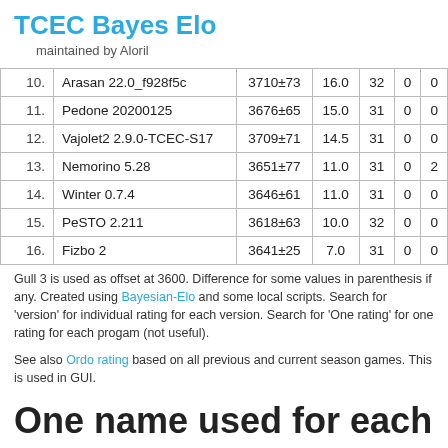TCEC Bayes Elo
maintained by Aloril
| # | Name | Elo | Score | Games | Col6 | Col7 |
| --- | --- | --- | --- | --- | --- | --- |
| 10. | Arasan 22.0_f928f5c | 3710±73 | 16.0 | 32 | 0 | 0 |
| 11. | Pedone 20200125 | 3676±65 | 15.0 | 31 | 0 | 0 |
| 12. | Vajolet2 2.9.0-TCEC-S17 | 3709±71 | 14.5 | 31 | 0 | 0 |
| 13. | Nemorino 5.28 | 3651±77 | 11.0 | 31 | 0 | 2 |
| 14. | Winter 0.7.4 | 3646±61 | 11.0 | 31 | 0 | 0 |
| 15. | PeSTO 2.211 | 3618±63 | 10.0 | 32 | 0 | 0 |
| 16. | Fizbo 2 | 3641±25 | 7.0 | 31 | 0 | 0 |
Gull 3 is used as offset at 3600. Difference for some values in parenthesis if any. Created using Bayesian-Elo and some local scripts. Search for 'version' for individual rating for each version. Search for 'One rating' for one rating for each progam (not useful).
See also Ordo rating based on all previous and current season games. This is used in GUI.
One name used for each